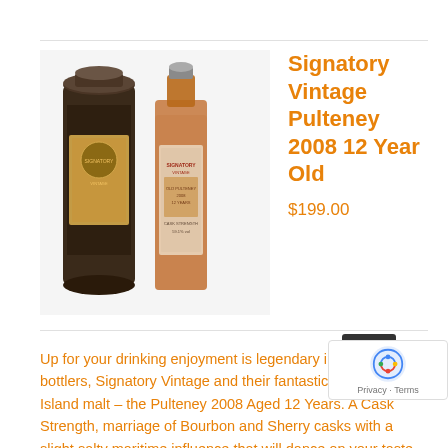[Figure (photo): Product photo showing Signatory Vintage Pulteney 2008 12 Year Old whisky bottle next to its cylindrical tin tube packaging]
Signatory Vintage Pulteney 2008 12 Year Old
$199.00
Up for your drinking enjoyment is legendary independent bottlers, Signatory Vintage and their fantastic take on an Island malt – the Pulteney 2008 Aged 12 Years. A Cask Strength, marriage of Bourbon and Sherry casks with a slight salty maritime influence that will dance on your taste buds. The Pulteney 2008 Aged 12 Years was distilled (as the name suggests) at the Pulteney Distillery and aged in Bourbon Barrels. After around 6 years three casks were married into a single fresh